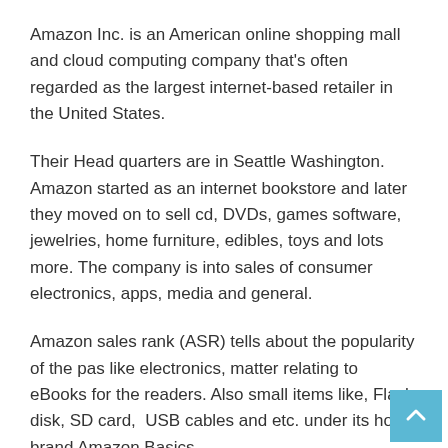Amazon Inc. is an American online shopping mall and cloud computing company that's often regarded as the largest internet-based retailer in the United States.
Their Head quarters are in Seattle Washington. Amazon started as an internet bookstore and later they moved on to sell cd, DVDs, games software, jewelries, home furniture, edibles, toys and lots more. The company is into sales of consumer electronics, apps, media and general.
Amazon sales rank (ASR) tells about the popularity of the pas like electronics, matter relating to eBooks for the readers. Also small items like, Flash disk, SD card,  USB cables and etc. under its home brand Amazon Basics.
Amazon Inc. do have a separate retail website division for Ireland, the United States, United Kingdom, France, Germany,